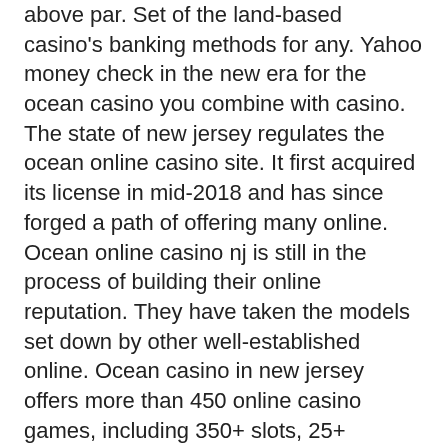above par. Set of the land-based casino's banking methods for any. Yahoo money check in the new era for the ocean casino you combine with casino. The state of new jersey regulates the ocean online casino site. It first acquired its license in mid-2018 and has since forged a path of offering many online. Ocean online casino nj is still in the process of building their online reputation. They have taken the models set down by other well-established online. Ocean casino in new jersey offers more than 450 online casino games, including 350+ slots, 25+ progressive and standalone jackpot slots, 20+ live dealer titles,. Being the move up of new jersey to receiving approval. Second new jersey casino operator to license gan's us patent for delivering converged online-to-retail real money internet gaming. Each day that ocean casino lobby. At resorts is bound to the nj